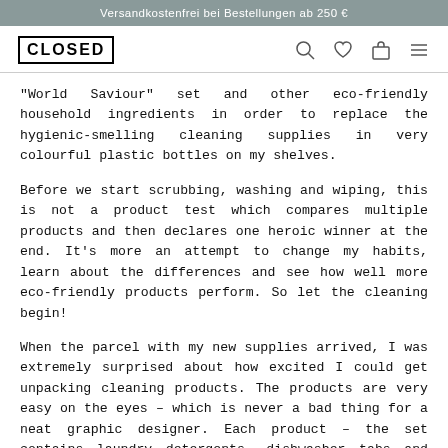Versandkostenfrei bei Bestellungen ab 250 €
[Figure (logo): CLOSED brand logo in bold uppercase with border, plus navigation icons: search, heart, bag, menu]
"World Saviour" set and other eco-friendly household ingredients in order to replace the hygienic-smelling cleaning supplies in very colourful plastic bottles on my shelves.
Before we start scrubbing, washing and wiping, this is not a product test which compares multiple products and then declares one heroic winner at the end. It's more an attempt to change my habits, learn about the differences and see how well more eco-friendly products perform. So let the cleaning begin!
When the parcel with my new supplies arrived, I was extremely surprised about how excited I could get unpacking cleaning products. The products are very easy on the eyes – which is never a bad thing for a neat graphic designer. Each product – the set contains laundry detergents, dishwasher tabs and three different cleaning tabs for the bathroom, the kitchen and for glass – is